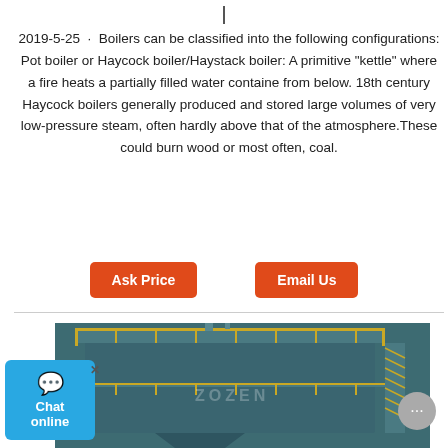2019-5-25 · Boilers can be classified into the following configurations: Pot boiler or Haycock boiler/Haystack boiler: A primitive "kettle" where a fire heats a partially filled water container from below. 18th century Haycock boilers generally produced and stored large volumes of very low-pressure steam, often hardly above that of the atmosphere.These could burn wood or most often, coal.
[Figure (other): Ask Price and Email Us buttons (orange/red rounded rectangles)]
[Figure (photo): Photo of a large industrial ZOZEN boiler unit, teal/dark green colored, with yellow railings and staircases on the exterior structure.]